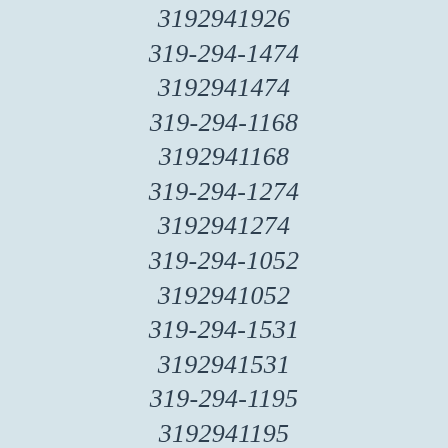3192941926
319-294-1474
3192941474
319-294-1168
3192941168
319-294-1274
3192941274
319-294-1052
3192941052
319-294-1531
3192941531
319-294-1195
3192941195
319-294-1368
3192941368
319-294-1339